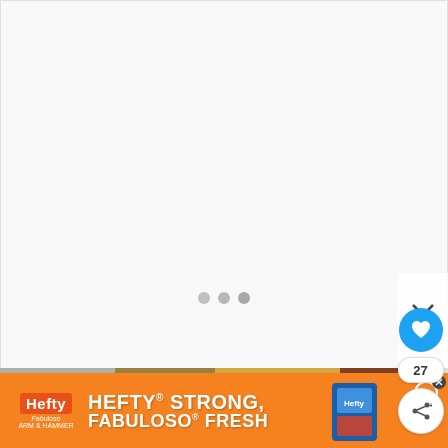[Figure (other): Loading placeholder white area with three gray dots indicating content loading]
[Figure (photo): Photo strip showing cheese wheels and wooden interior scene collage]
[Figure (infographic): Social sidebar with heart/favorite button, share count 27, and share button]
[Figure (other): Advertisement banner: Hefty STRONG, FABULOSO FRESH with orange background and Hefty product imagery]